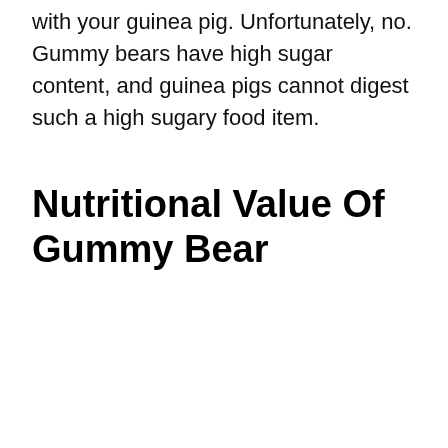with your guinea pig. Unfortunately, no. Gummy bears have high sugar content, and guinea pigs cannot digest such a high sugary food item.
Nutritional Value Of Gummy Bear